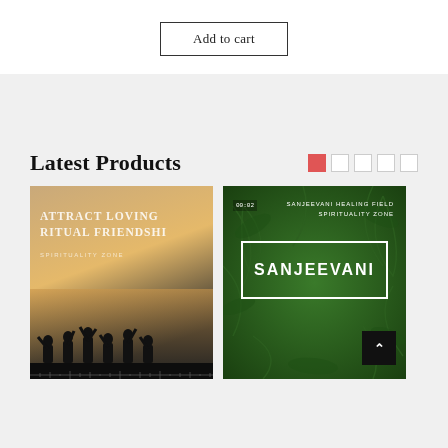Add to cart
Latest Products
[Figure (screenshot): Product thumbnail: silhouettes of people with raised arms against a golden sunset sky, with text 'ATTRACT LOVING RITUAL FRIENDSHIP SPIRITUALITY ZONE']
[Figure (screenshot): Product thumbnail: green fern background with white text box containing 'SANJEEVANI', subtitle 'SANJEEVANI HEALING FIELD SPIRITUALITY ZONE', timer '00:02', and dark back-to-top button]